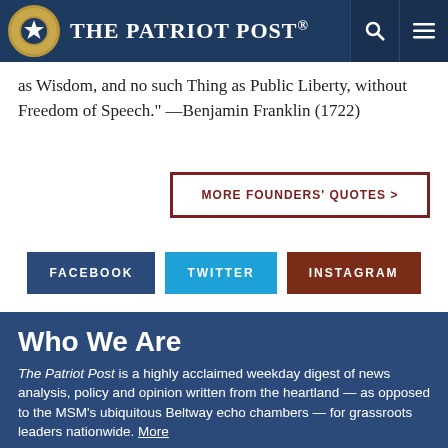The Patriot Post
as Wisdom, and no such Thing as Public Liberty, without Freedom of Speech." —Benjamin Franklin (1722)
MORE FOUNDERS' QUOTES >
FACEBOOK  TWITTER  INSTAGRAM
Who We Are
The Patriot Post is a highly acclaimed weekday digest of news analysis, policy and opinion written from the heartland — as opposed to the MSM's ubiquitous Beltway echo chambers — for grassroots leaders nationwide. More
What We Offer
On the Web
We provide solid conservative perspective on the most important